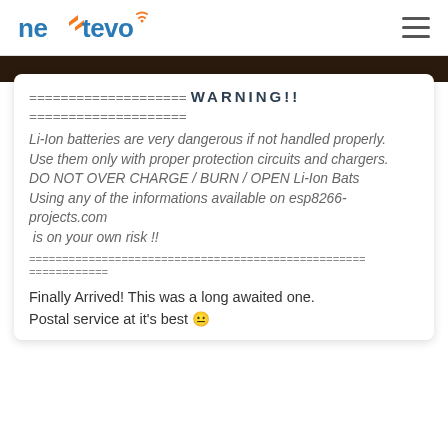NEXTEVO [logo] — hamburger menu
==================== WARNING!! ====================
Li-Ion batteries are very dangerous if not handled properly.
Use them only with proper protection circuits and chargers.
DO NOT OVER CHARGE / BURN / OPEN Li-Ion Bats
Using any of the informations available on esp8266-projects.com
 is on your own risk !!
===================================================================
============
Finally Arrived! This was a long awaited one.
Postal service at it's best 😐